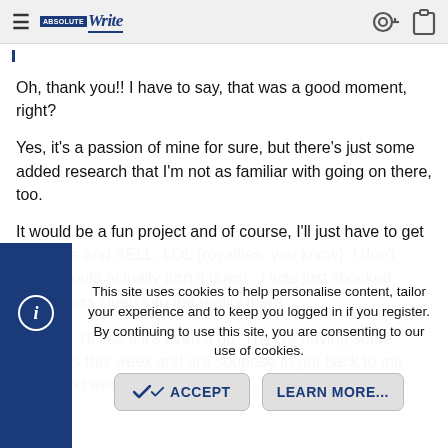≡  [AbsoluteWrite logo]  🔑  📋
Oh, thank you!! I have to say, that was a good moment, right?
Yes, it's a passion of mine for sure, but there's just some added research that I'm not as familiar with going on there, too.
It would be a fun project and of course, I'll just have to get out there and SELL, LOL (royalties, you know). I don't think I could actually turn it down...I was just shocked when i was clued into the reality there.
Anyway, I'll see if it's even a go. They're having some meetings this week and are suppose to get back to me early next week.
This site uses cookies to help personalise content, tailor your experience and to keep you logged in if you register. By continuing to use this site, you are consenting to our use of cookies.